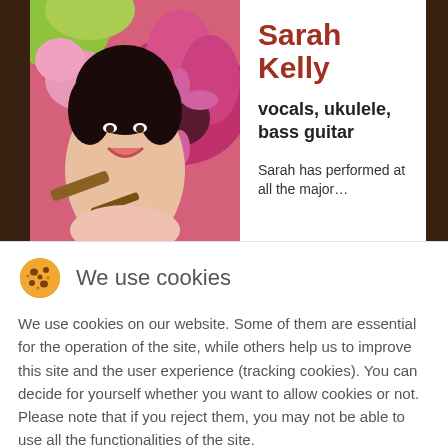[Figure (photo): Photo of Sarah Kelly, a woman smiling and holding a ukulele, surrounded by flowers]
Sarah Kelly
vocals, ukulele, bass guitar
Sarah has performed at all the major…
We use cookies
We use cookies on our website. Some of them are essential for the operation of the site, while others help us to improve this site and the user experience (tracking cookies). You can decide for yourself whether you want to allow cookies or not. Please note that if you reject them, you may not be able to use all the functionalities of the site.
Ok
Decline